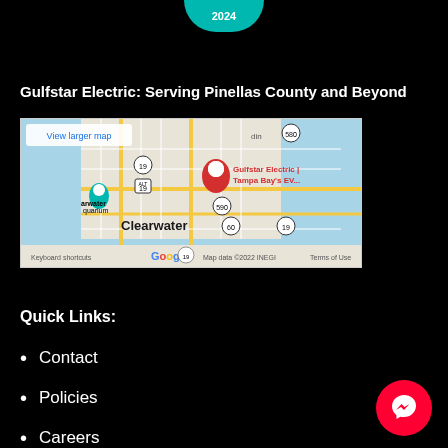[Figure (logo): Partial teal circular logo/badge at top center, cut off at top]
Gulfstar Electric: Serving Pinellas County and Beyond
[Figure (map): Google Maps embed showing Clearwater area with Gulfstar Electric pin location. Shows 'View larger map' link, label 'Gulfstar Electric | Tampa Bay's EV...', Clearwater label, routes 19, 580, 590, 60, ALT 19, blue aquarium pin, Google logo, 'Keyboard shortcuts', 'Map data ©2022 INEGI', 'Terms of Use']
Quick Links:
Contact
Policies
Careers
[Figure (illustration): Red circular Facebook Messenger button in bottom right corner]